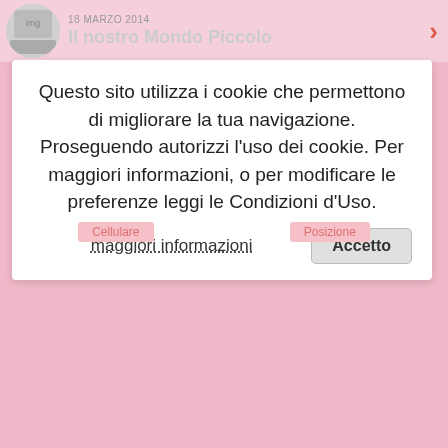18 MARZO 2014 Il nostro Mondo Piccolo
Questo sito utilizza i cookie che permettono di migliorare la tua navigazione. Proseguendo autorizzi l'uso dei cookie. Per maggiori informazioni, o per modificare le preferenze leggi le Condizioni d'Uso.
maggiori informazioni
Accetto